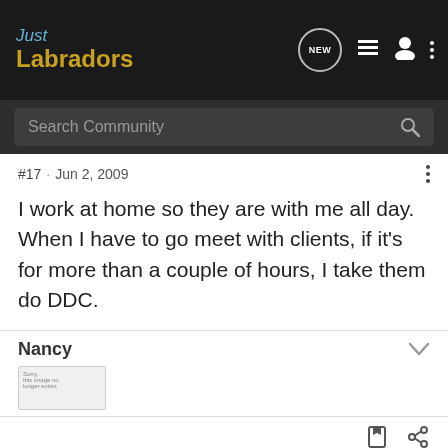Just Labradors
Search Community
#17 · Jun 2, 2009
I work at home so they are with me all day. When I have to go meet with clients, if it's for more than a couple of hours, I take them do DDC.
Nancy
[Figure (photo): Small thumbnail image placeholder in Nancy's post]
Labradorable · Registered
Joined Mar 9, 2009 · 4,176 Posts